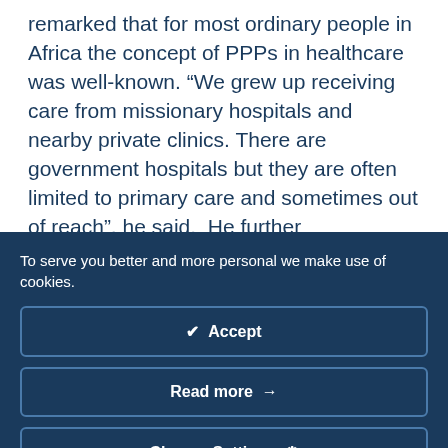remarked that for most ordinary people in Africa the concept of PPPs in healthcare was well-known. “We grew up receiving care from missionary hospitals and nearby private clinics. There are government hospitals but they are often limited to primary care and sometimes out of reach”, he said.  He further emphasized the importance of having private clinics and argued that people are willing to pay for them if the quality of care is good. Most people however do
To serve you better and more personal we make use of cookies.
✔  Accept
Read more  →
Change Settings  ⚙
private sector in providing the citizenry with